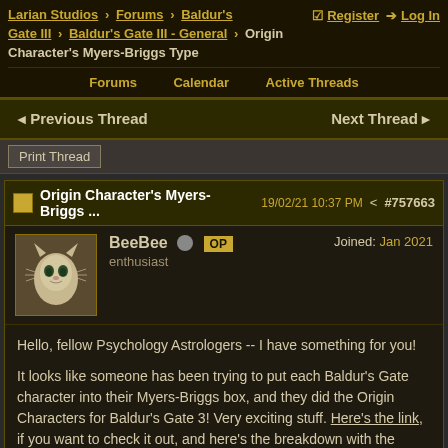Larian Studios > Forums > Baldur's Gate III > Baldur's Gate III - General > Origin Character's Myers-Briggs Type | Register | Log In
Forums | Calendar | Active Threads
< Previous Thread   Next Thread >
Print Thread
Origin Character's Myers-Briggs ...   19/02/21 10:37 PM  #757663
BeeBee  OP  enthusiast  Joined: Jan 2021
Hello, fellow Psychology Astrologers -- I have something for you!

It looks like someone has been trying to put each Baldur's Gate character into their Myers-Briggs box, and they did the Origin Characters for Baldur's Gate 3! Very exciting stuff. Here's the link, if you want to check it out, and here's the breakdown with the notes from the site and from 16 Personalities.

Lae'zel - ISTJ